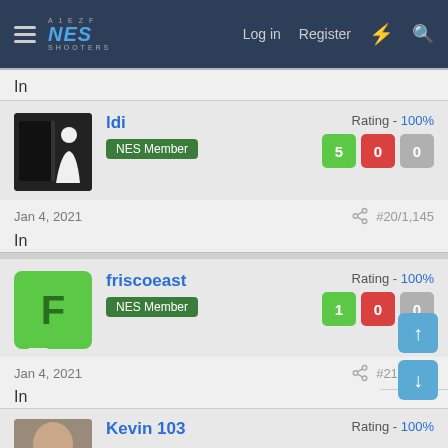NES Shooters — Log in | Register
In
ldi — NES Member — Rating - 100% — 5 0 0
Jan 4, 2021 — #20/1,145
In
friscoeast — NES Member — Rating - 100% — 1 0 0
Jan 4, 2021 — #21/1,145
In
Kevin 103 — Rating - 100%